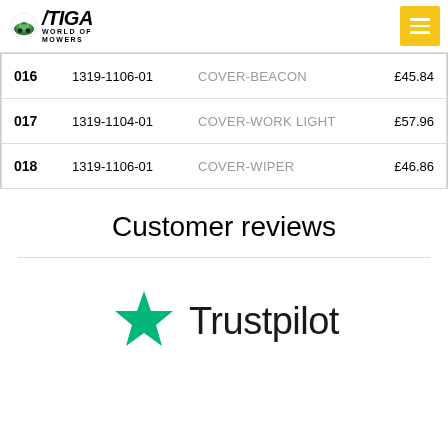STIGA WORLD OF MOWERS
| # | Code | Description | Price |
| --- | --- | --- | --- |
| 016 | 1319-1106-01 | COVER-BEACON | £45.84 |
| 017 | 1319-1104-01 | COVER-WORK LIGHT | £57.96 |
| 018 | 1319-1106-01 | COVER-WIPER | £46.86 |
Customer reviews
[Figure (logo): Trustpilot logo with green star]